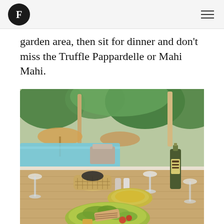TF logo and navigation menu
garden area, then sit for dinner and don’t miss the Truffle Pappardelle or Mahi Mahi.
[Figure (photo): Outdoor dining table set poolside with tropical garden backdrop. Table has a yellow bowl with salad, a wicker basket, wine glasses, salt and pepper shakers, and an olive oil bottle. Lush green tropical trees and pool visible in background.]